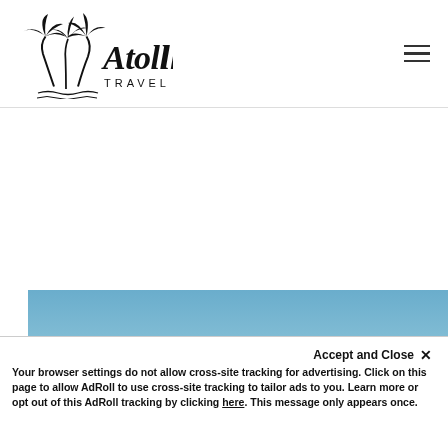Atoll Travel
[Figure (photo): Panoramic beach/sky photo with blue sky and white clouds, part of a travel website slideshow]
Accept and Close ×
Your browser settings do not allow cross-site tracking for advertising. Click on this page to allow AdRoll to use cross-site tracking to tailor ads to you. Learn more or opt out of this AdRoll tracking by clicking here. This message only appears once.